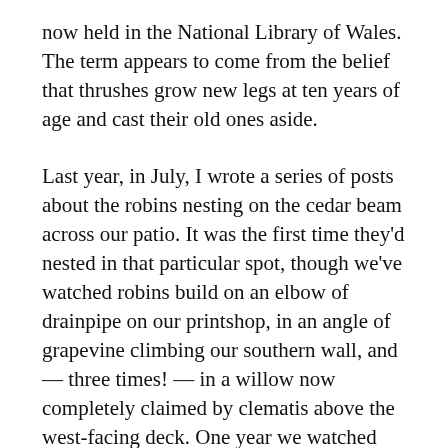now held in the National Library of Wales.  The term appears to come from the belief that thrushes grow new legs at ten years of age and cast their old ones aside.
Last year, in July, I wrote a series of posts about the robins nesting on the cedar beam across our patio. It was the first time they'd nested in that particular spot, though we've watched robins build on an elbow of drainpipe on our printshop, in an angle of grapevine climbing our southern wall, and — three times! — in a willow now completely claimed by clematis above the west-facing deck. One year we watched three robins learn to fly and it echoed the passage of our own children away from